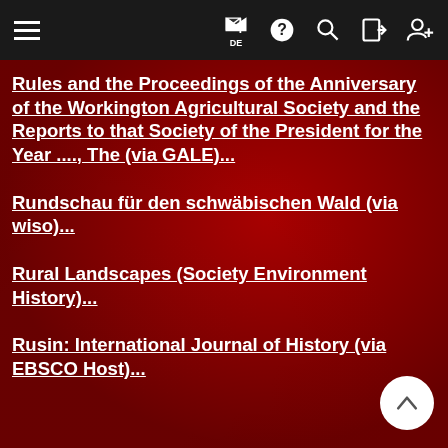Navigation bar with hamburger menu, flag/DE, help, search, login, register icons
Rules and the Proceedings of the Anniversary of the Workington Agricultural Society and the Reports to that Society of the President for the Year ...., The (via GALE)...
Rundschau für den schwäbischen Wald (via wiso)...
Rural Landscapes (Society Environment History)...
Rusin: International Journal of History (via EBSCO Host)...